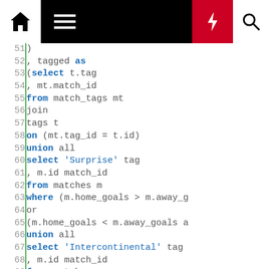[Figure (screenshot): Navigation bar with home icon, hamburger menu, lightning bolt (red), and search icon on black background]
SQL code block lines 51-73 showing a SQL query with tagged CTE, match_tags join, union all selects for Surprise, Intercontinental, and Derby tags